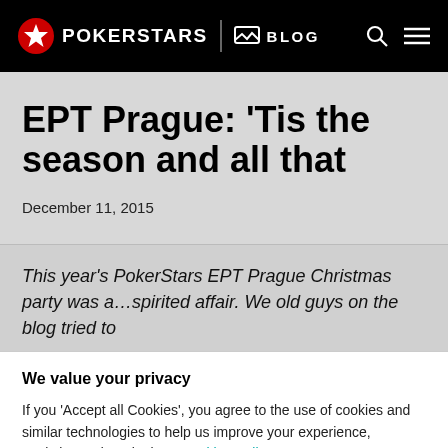POKERSTARS | BLOG
EPT Prague: ‘Tis the season and all that
December 11, 2015
This year’s PokerStars EPT Prague Christmas party was a…spirited affair. We old guys on the blog tried to
We value your privacy
If you ‘Accept all Cookies’, you agree to the use of cookies and similar technologies to help us improve your experience, analytics and marketing.  Cookies Policy